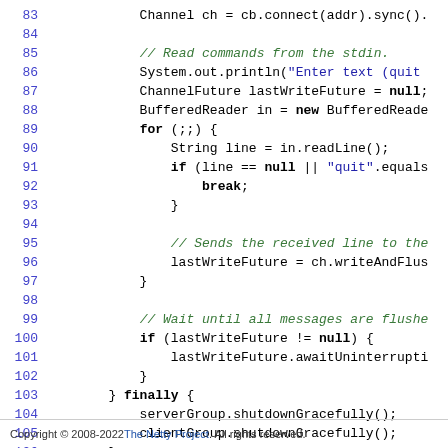[Figure (screenshot): Java source code snippet showing lines 83-108, including Channel connection, stdin reading loop, writeAndFlush, awaitUninterruptibly, and finally block with shutdownGracefully calls.]
Copyright © 2008-2022 The Netty Project. All rights reserved.